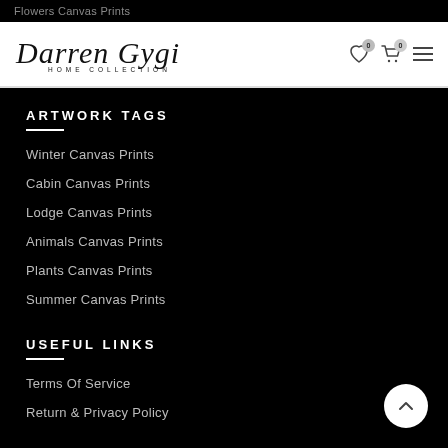Flowers Canvas Prints
[Figure (logo): Darren Gygi Home Collection cursive signature logo with 'HOME COLLECTION' text below, and shopping/wishlist/menu icons on the right]
ARTWORK TAGS
Winter Canvas Prints
Cabin Canvas Prints
Lodge Canvas Prints
Animals Canvas Prints
Plants Canvas Prints
Summer Canvas Prints
USEFUL LINKS
Terms Of Service
Return & Privacy Policy